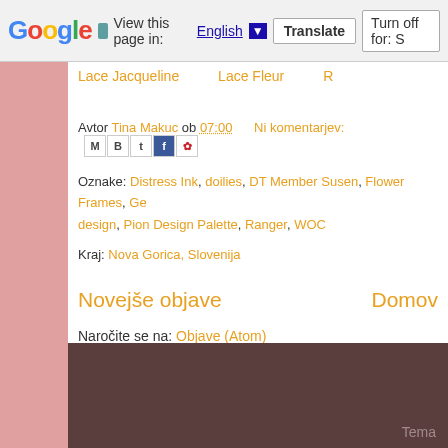Google  View this page in: English ▼  Translate  Turn off for: S
Lace Jacqueline   Lace Fleur   R
Avtor Tina Makuc ob 07:00   Ni komentarjev:
Oznake: Distress Ink, doilies, DT Member Susen, Flower Frames, Ge design, Pion Design Palette, Ranger, WOC
Kraj: Nova Gorica, Slovenija
Novejše objave
Domov
Naročite se na: Objave (Atom)
Tema